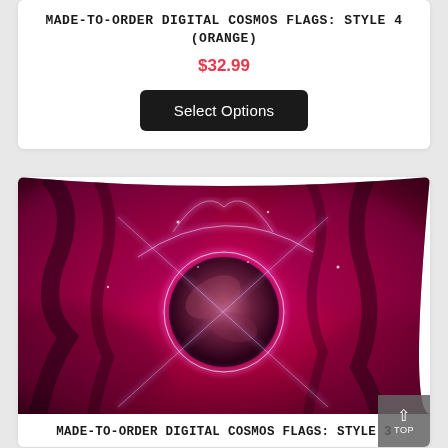MADE-TO-ORDER DIGITAL COSMOS FLAGS: STYLE 4 (ORANGE)
$32.99
Select Options
[Figure (photo): A cosmic/space themed illustration showing a glowing magenta/pink planet with neon orbital rings and crossing light beams, against a dark pink nebula background. The image is shaped like a waving flag.]
MADE-TO-ORDER DIGITAL COSMOS FLAGS: STYLE 3